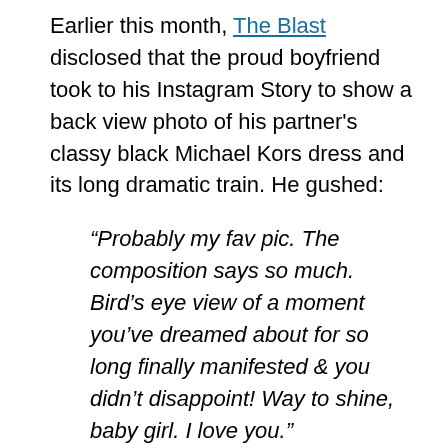Earlier this month, The Blast disclosed that the proud boyfriend took to his Instagram Story to show a back view photo of his partner's classy black Michael Kors dress and its long dramatic train. He gushed:
“Probably my fav pic. The composition says so much. Bird’s eye view of a moment you’ve dreamed about for so long finally manifested & you didn’t disappoint! Way to shine, baby girl. I love you.”
Harvey uploaded a screenshot of the “Space Jam: A New Legacy” actor’s post to her Instagram Story alongside a pleading face and white heart emoji, writing, “THANK YOU, BABY. I LOVE YOU!!”